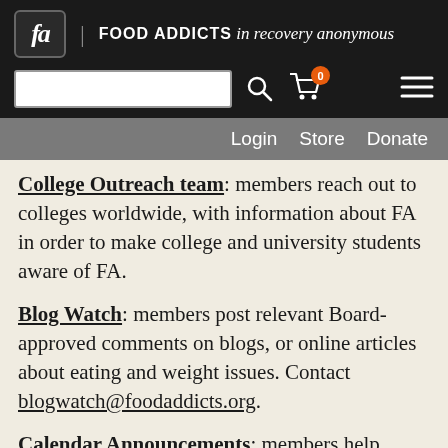fa FOOD ADDICTS in recovery anonymous
Login  Store  Donate
College Outreach team: members reach out to colleges worldwide, with information about FA in order to make college and university students aware of FA.
Blog Watch: members post relevant Board-approved comments on blogs, or online articles about eating and weight issues. Contact blogwatch@foodaddicts.org.
Calendar Announcements: members help organize online resources for posting calendar